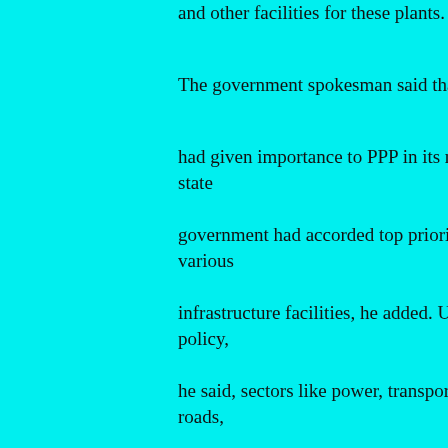and other facilities for these plants.
The government spokesman said that
had given importance to PPP in its new state
government had accorded top priority various
infrastructure facilities, he added. Und policy,
he said, sectors like power, transport, roads,
canals, industry, medical and health a
identified for the development of rura
The spokesman said that the Governm
have any policy or guidelines regardin